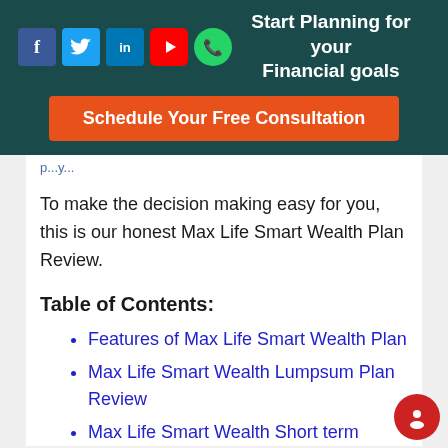Start Planning for your Financial goals
Schedule Your Free Consultation
p...y...
To make the decision making easy for you, this is our honest Max Life Smart Wealth Plan Review.
Table of Contents:
Features of Max Life Smart Wealth Plan
Max Life Smart Wealth Lumpsum Plan Review
Max Life Smart Wealth Short term